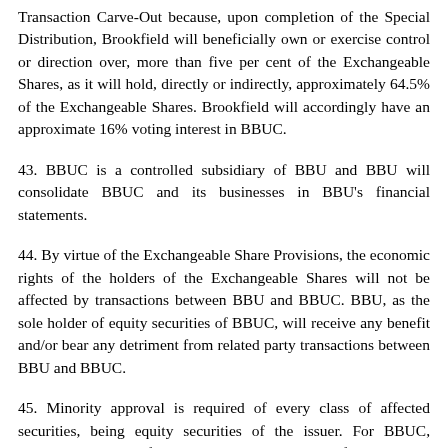Transaction Carve-Out because, upon completion of the Special Distribution, Brookfield will beneficially own or exercise control or direction over, more than five per cent of the Exchangeable Shares, as it will hold, directly or indirectly, approximately 64.5% of the Exchangeable Shares. Brookfield will accordingly have an approximate 16% voting interest in BBUC.
43. BBUC is a controlled subsidiary of BBU and BBU will consolidate BBUC and its businesses in BBU's financial statements.
44. By virtue of the Exchangeable Share Provisions, the economic rights of the holders of the Exchangeable Shares will not be affected by transactions between BBU and BBUC. BBU, as the sole holder of equity securities of BBUC, will receive any benefit and/or bear any detriment from related party transactions between BBU and BBUC.
45. Minority approval is required of every class of affected securities, being equity securities of the issuer. For BBUC, minority approval of a related party transaction of BBUC with BBU would be sought from the holders of its Class C Shares, all of which are held